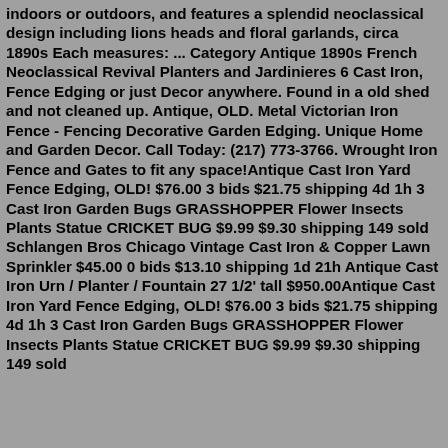indoors or outdoors, and features a splendid neoclassical design including lions heads and floral garlands, circa 1890s Each measures: ... Category Antique 1890s French Neoclassical Revival Planters and Jardinieres 6 Cast Iron, Fence Edging or just Decor anywhere. Found in a old shed and not cleaned up. Antique, OLD. Metal Victorian Iron Fence - Fencing Decorative Garden Edging. Unique Home and Garden Decor. Call Today: (217) 773-3766. Wrought Iron Fence and Gates to fit any space!Antique Cast Iron Yard Fence Edging, OLD! $76.00 3 bids $21.75 shipping 4d 1h 3 Cast Iron Garden Bugs GRASSHOPPER Flower Insects Plants Statue CRICKET BUG $9.99 $9.30 shipping 149 sold Schlangen Bros Chicago Vintage Cast Iron & Copper Lawn Sprinkler $45.00 0 bids $13.10 shipping 1d 21h Antique Cast Iron Urn / Planter / Fountain 27 1/2' tall $950.00Antique Cast Iron Yard Fence Edging, OLD! $76.00 3 bids $21.75 shipping 4d 1h 3 Cast Iron Garden Bugs GRASSHOPPER Flower Insects Plants Statue CRICKET BUG $9.99 $9.30 shipping 149 sold